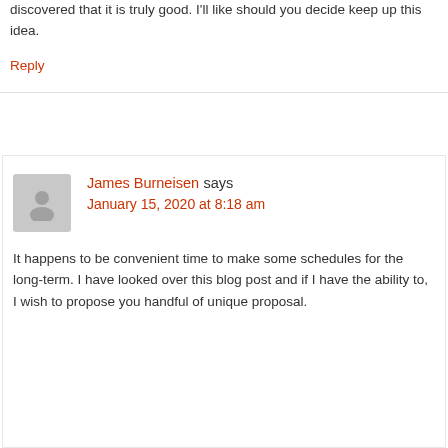discovered that it is truly good. I'll like should you decide keep up this idea.
Reply
James Burneisen says
January 15, 2020 at 8:18 am
It happens to be convenient time to make some schedules for the long-term. I have looked over this blog post and if I have the ability to, I wish to propose you handful of unique proposal.